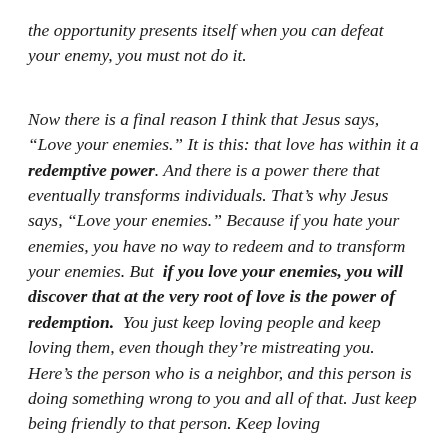the opportunity presents itself when you can defeat your enemy, you must not do it.
Now there is a final reason I think that Jesus says, “Love your enemies.” It is this: that love has within it a redemptive power. And there is a power there that eventually transforms individuals. That’s why Jesus says, “Love your enemies.” Because if you hate your enemies, you have no way to redeem and to transform your enemies. But if you love your enemies, you will discover that at the very root of love is the power of redemption. You just keep loving people and keep loving them, even though they’re mistreating you. Here’s the person who is a neighbor, and this person is doing something wrong to you and all of that. Just keep being friendly to that person. Keep loving